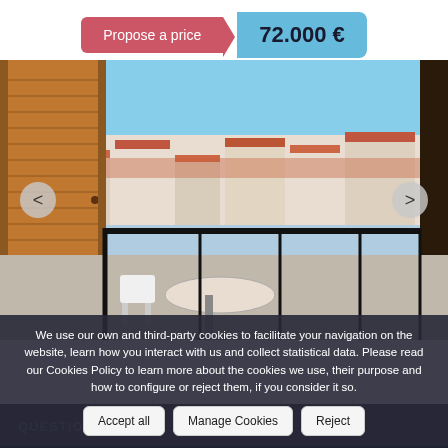Propose a price
72.000 €
[Figure (photo): Balcony view showing wooden louvered shutters on the left, a black metal railing, and a Mediterranean townscape with red-tiled rooftops and white buildings under a blue sky. A small table and chair visible in the foreground.]
We use our own and third-party cookies to facilitate your navigation on the website, learn how you interact with us and collect statistical data. Please read our Cookies Policy to learn more about the cookies we use, their purpose and how to configure or reject them, if you consider it so.
Accept all
Manage Cookies
Reject
QUESTION?